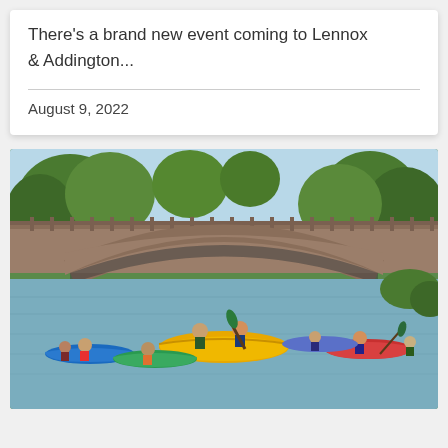There's a brand new event coming to Lennox & Addington...
August 9, 2022
[Figure (photo): Group of people kayaking and canoeing on a river, with a large stone arch bridge in the background surrounded by green trees. A prominent yellow canoe is in the foreground with several participants in life vests.]